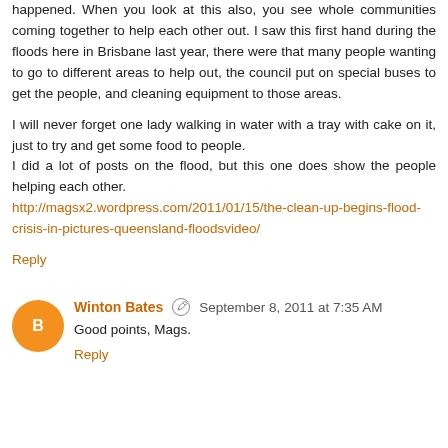happened. When you look at this also, you see whole communities coming together to help each other out. I saw this first hand during the floods here in Brisbane last year, there were that many people wanting to go to different areas to help out, the council put on special buses to get the people, and cleaning equipment to those areas.

I will never forget one lady walking in water with a tray with cake on it, just to try and get some food to people.
I did a lot of posts on the flood, but this one does show the people helping each other.
http://magsx2.wordpress.com/2011/01/15/the-clean-up-begins-flood-crisis-in-pictures-queensland-floodsvideo/
Reply
Winton Bates  September 8, 2011 at 7:35 AM
Good points, Mags.
Reply